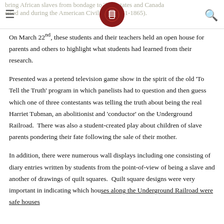bring African slaves from bondage to 'free' states and Canada period and during the American Civil War (1861-1865).
On March 22nd, these students and their teachers held an open house for parents and others to highlight what students had learned from their research.
Presented was a pretend television game show in the spirit of the old 'To Tell the Truth' program in which panelists had to question and then guess which one of three contestants was telling the truth about being the real Harriet Tubman, an abolitionist and 'conductor' on the Underground Railroad.  There was also a student-created play about children of slave parents pondering their fate following the sale of their mother.
In addition, there were numerous wall displays including one consisting of diary entries written by students from the point-of-view of being a slave and another of drawings of quilt squares.  Quilt square designs were very important in indicating which houses along the Underground Railroad were safe houses